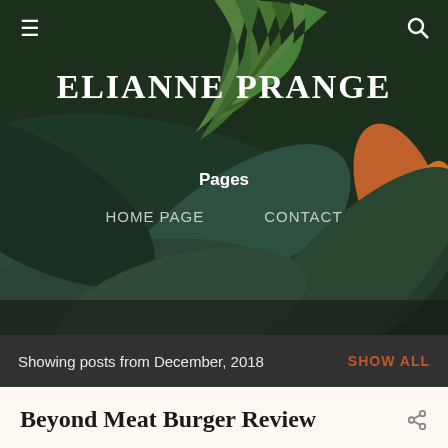[Figure (photo): Dark tropical leafy background with green and teal large leaves, a palm frond, and an orange tropical flower visible on the right side]
≡   ELIANNE PRANGE   🔍
ELIANNE PRANGE
Pages
HOME PAGE    CONTACT
Showing posts from December, 2018  SHOW ALL
Beyond Meat Burger Review
- December 22, 2018
The beyond meat burger Green common Beyond meat truffel burger:  If you don't